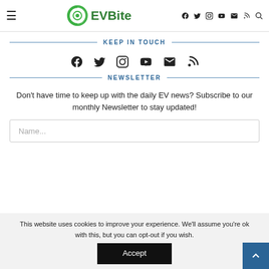EVBite
KEEP IN TOUCH
[Figure (infographic): Social media icons row: Facebook, Twitter, Instagram, YouTube, Email, RSS]
NEWSLETTER
Don't have time to keep up with the daily EV news? Subscribe to our monthly Newsletter to stay updated!
Name...
This website uses cookies to improve your experience. We'll assume you're ok with this, but you can opt-out if you wish.
Accept